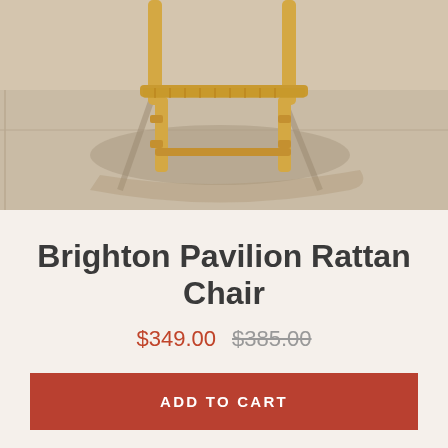[Figure (photo): Photo of a rattan chair with bamboo/woven legs sitting on a concrete sidewalk in sunlight, casting shadows on the ground. The lower portion shows the legs and rungs of the chair prominently against the concrete.]
Brighton Pavilion Rattan Chair
$349.00  $385.00
ADD TO CART